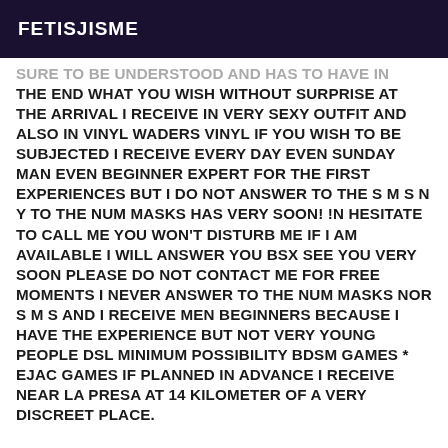FETISJISME
SURE TO BE UNDERSTOOD AND HAS TO HAVE IN THE END WHAT YOU WISH WITHOUT SURPRISE AT THE ARRIVAL I RECEIVE IN VERY SEXY OUTFIT AND ALSO IN VINYL WADERS VINYL IF YOU WISH TO BE SUBJECTED I RECEIVE EVERY DAY EVEN SUNDAY MAN EVEN BEGINNER EXPERT FOR THE FIRST EXPERIENCES BUT I DO NOT ANSWER TO THE S M S N Y TO THE NUM MASKS HAS VERY SOON! !N HESITATE TO CALL ME YOU WON'T DISTURB ME IF I AM AVAILABLE I WILL ANSWER YOU BSX SEE YOU VERY SOON PLEASE DO NOT CONTACT ME FOR FREE MOMENTS I NEVER ANSWER TO THE NUM MASKS NOR S M S AND I RECEIVE MEN BEGINNERS BECAUSE I HAVE THE EXPERIENCE BUT NOT VERY YOUNG PEOPLE DSL MINIMUM POSSIBILITY BDSM GAMES * EJAC GAMES IF PLANNED IN ADVANCE I RECEIVE NEAR LA PRESA AT 14 KILOMETER OF A VERY DISCREET PLACE.